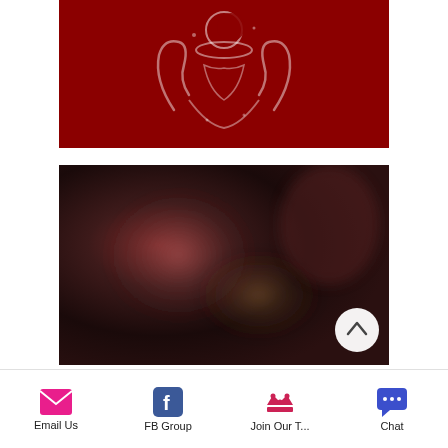[Figure (logo): Dark red banner with a white decorative logo/emblem featuring two hands raised upward with a crescent moon symbol, ornate jewelry style illustration]
[Figure (photo): Blurred dark photograph of people at what appears to be a gathering or event, warm reddish tones, with a white circular scroll-up button in the bottom right corner]
We d...
Email Us | FB Group | Join Our T... | Chat